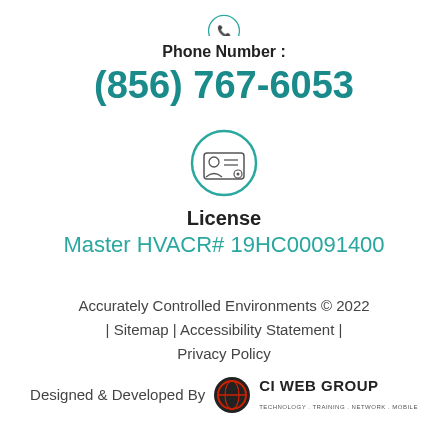[Figure (illustration): Teal circular icon with a phone symbol at top of page (partially cropped)]
Phone Number :
(856) 767-6053
[Figure (illustration): Teal circular icon with a license/ID card symbol]
License
Master HVACR# 19HC00091400
Accurately Controlled Environments © 2022 | Sitemap | Accessibility Statement | Privacy Policy
Designed & Developed By CI WEB GROUP